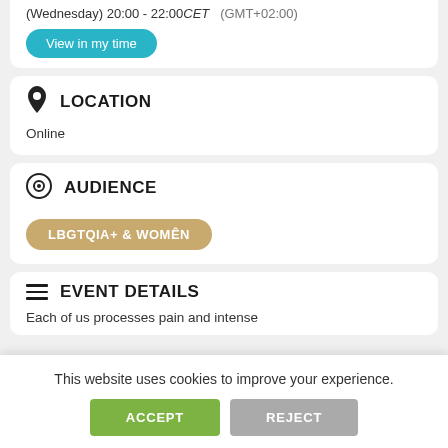(Wednesday) 20:00 - 22:00CET  (GMT+02:00)
View in my time
LOCATION
Online
AUDIENCE
LBGTQIA+ & WOMÊN
EVENT DETAILS
Each of us processes pain and intense
This website uses cookies to improve your experience.
ACCEPT
REJECT